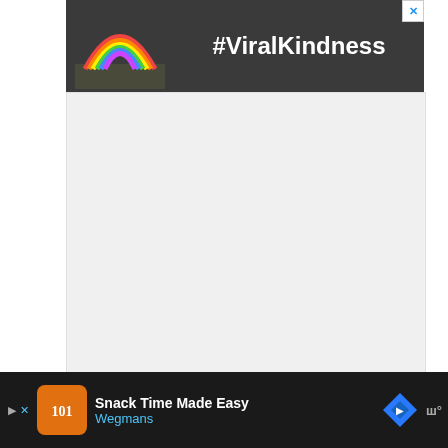[Figure (screenshot): Advertisement banner with rainbow drawing and #ViralKindness hashtag on dark background with close button]
[Figure (screenshot): White/light gray advertisement placeholder area with WW logo watermark in bottom right corner]
Do you have a skill for making something? Have you ever dreamed of selling it for a living? If the answer is yes, you can
[Figure (screenshot): Bottom advertisement banner for Wegmans 'Snack Time Made Easy' on dark background with orange icon, blue navigation arrow, and WW logo]